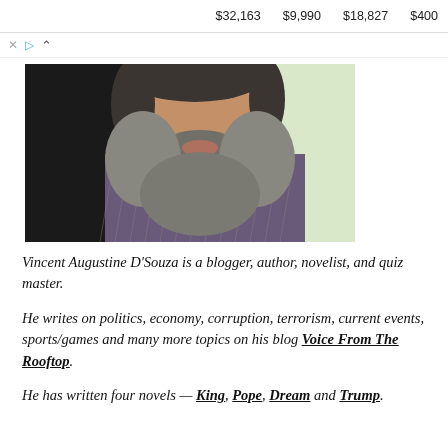$32,163   $9,990   $18,827   $400
[Figure (photo): Close-up photo of a man with a large gray beard wearing a striped shirt, against a light green background.]
Vincent Augustine D'Souza is a blogger, author, novelist, and quiz master.
He writes on politics, economy, corruption, terrorism, current events, sports/games and many more topics on his blog Voice From The Rooftop.
He has written four novels — King, Pope, Dream and Trump.